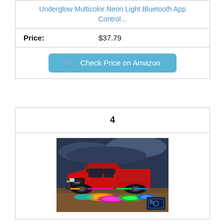Underglow Multicolor Neon Light Bluetooth App Control...
Price: $37.79
Check Price on Amazon
4
[Figure (photo): Red pickup truck (Ford Raptor) with colorful underglow LED lights (pink, orange, green, blue) on a dark outdoor surface, with a smartphone inset showing app control.]